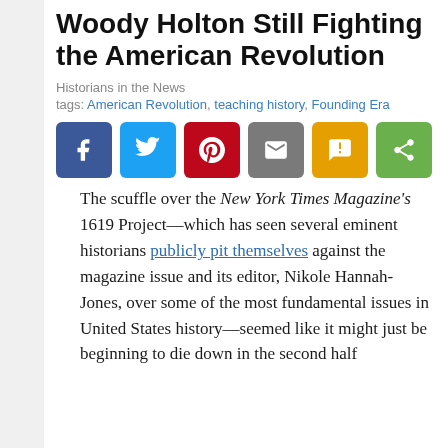Woody Holton Still Fighting the American Revolution
Historians in the News
tags: American Revolution, teaching history, Founding Era
[Figure (other): Social sharing buttons: Facebook (blue), Twitter (light blue), Pinterest (red), Email (gray), SMS (yellow/orange), Share (green)]
The scuffle over the New York Times Magazine's 1619 Project—which has seen several eminent historians publicly pit themselves against the magazine issue and its editor, Nikole Hannah-Jones, over some of the most fundamental issues in United States history—seemed like it might just be beginning to die down in the second half